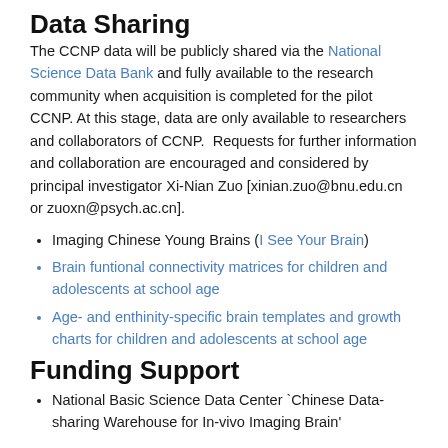Data Sharing
The CCNP data will be publicly shared via the National Science Data Bank and fully available to the research community when acquisition is completed for the pilot CCNP. At this stage, data are only available to researchers and collaborators of CCNP.  Requests for further information and collaboration are encouraged and considered by principal investigator Xi-Nian Zuo [xinian.zuo@bnu.edu.cn or zuoxn@psych.ac.cn].
Imaging Chinese Young Brains (I See Your Brain)
Brain funtional connectivity matrices for children and adolescents at school age
Age- and enthinity-specific brain templates and growth charts for children and adolescents at school age
Funding Support
National Basic Science Data Center `Chinese Data-sharing Warehouse for In-vivo Imaging Brain'